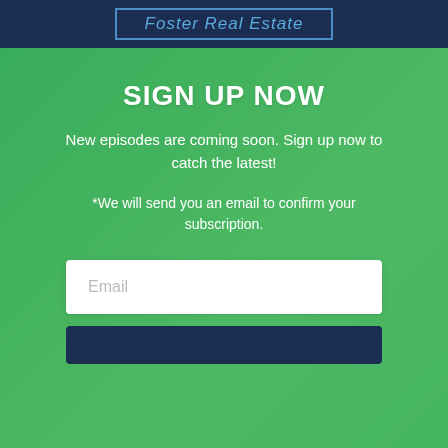Foster Real Estate
SIGN UP NOW
New episodes are coming soon. Sign up now to catch the latest!
*We will send you an email to confirm your subscription.
Email